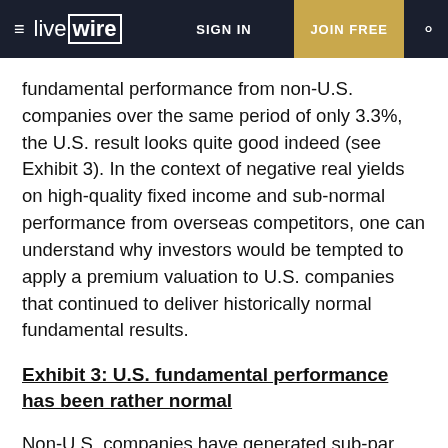live wire | SIGN IN | JOIN FREE
fundamental performance from non-U.S. companies over the same period of only 3.3%, the U.S. result looks quite good indeed (see Exhibit 3). In the context of negative real yields on high-quality fixed income and sub-normal performance from overseas competitors, one can understand why investors would be tempted to apply a premium valuation to U.S. companies that continued to deliver historically normal fundamental results.
Exhibit 3: U.S. fundamental performance has been rather normal
Non-U.S. companies have generated sub-par fundamental returns